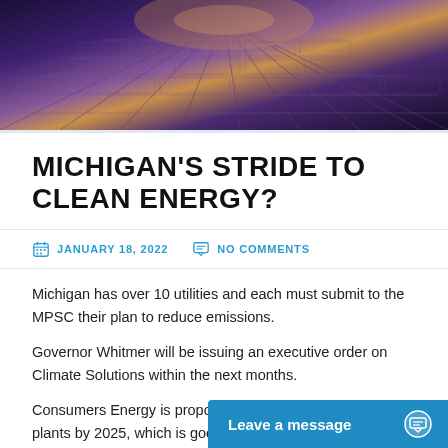[Figure (photo): Aerial view of solar panels with purple and gold tones at dusk]
MICHIGAN’S STRIDE TO CLEAN ENERGY?
JANUARY 18, 2022   NO COMMENTS
Michigan has over 10 utilities and each must submit to the MPSC their plan to reduce emissions.
Governor Whitmer will be issuing an executive order on Climate Solutions within the next months.
Consumers Energy is proposing to phase out all its coal plants by 2025, which is good. However, it further proposes to acquire and build new gas plants; less good.
DTE Energy will be filing…
Leave a message